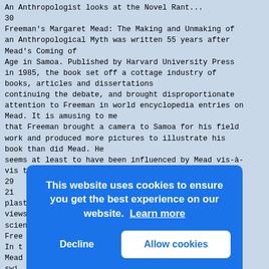An Anthropologist looks at the Novel Rant...
30
Freeman's Margaret Mead: The Making and Unmaking of an Anthropological Myth was written 55 years after Mead's Coming of Age in Samoa. Published by Harvard University Press in 1985, the book set off a cottage industry of books, articles and dissertations continuing the debate, and brought disproportionate attention to Freeman in world encyclopedia entries on Mead. It is amusing to me that Freeman brought a camera to Samoa for his field work and produced more pictures to illustrate his book than did Mead. He seems at least to have been influenced by Mead vis-à-vis the usefulness of photography.
29
21
plasticity. He saw his play as a clash of world views. Mead, he argues, fudged her science to propagate an optimistic world view.
Free...
In t...
Mead...
swi...
reme...
to a...
"The...
patr...
have...
ask
Mead...
Of the thousands of images and words processed by
[Figure (screenshot): Cookie consent banner with blue background. Text reads: 'This website uses cookies to ensure you get the best experience on our website. Learn more'. Two buttons: 'Decline' (white text) and 'Allow cookies' (blue text on white background).]